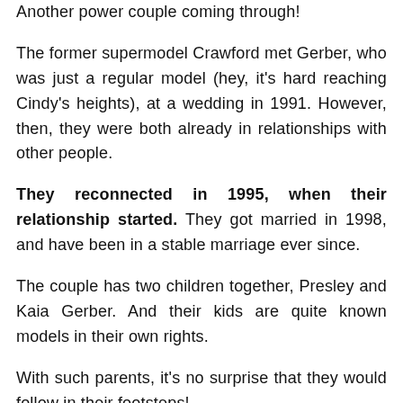Another power couple coming through!
The former supermodel Crawford met Gerber, who was just a regular model (hey, it's hard reaching Cindy's heights), at a wedding in 1991. However, then, they were both already in relationships with other people.
They reconnected in 1995, when their relationship started. They got married in 1998, and have been in a stable marriage ever since.
The couple has two children together, Presley and Kaia Gerber. And their kids are quite known models in their own rights.
With such parents, it's no surprise that they would follow in their footsteps!